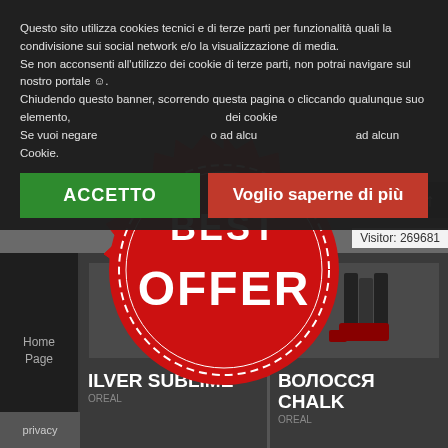[Figure (screenshot): Website background showing product promotional page with 'BEST OFFER' red stamp badge and product cards at bottom]
Questo sito utilizza cookies tecnici e di terze parti per funzionalità quali la condivisione sui social network e/o la visualizzazione di media. Se non acconsenti all'utilizzo dei cookie di terze parti, non potrai navigare sul nostro portale ☺. Chiudendo questo banner, scorrendo questa pagina o cliccando qualunque suo elemento, acconsenti all'uso dei cookie. Se vuoi negare il consenso ad alcuni o a tutti i cookie, clicca su Cookie.
ACCETTO
Voglio saperne di più
Visitor: 269681
Home Page
privacy
ILVER SUBLIME
L'OREAL
ВОЛОССЯ CHALK
OREAL